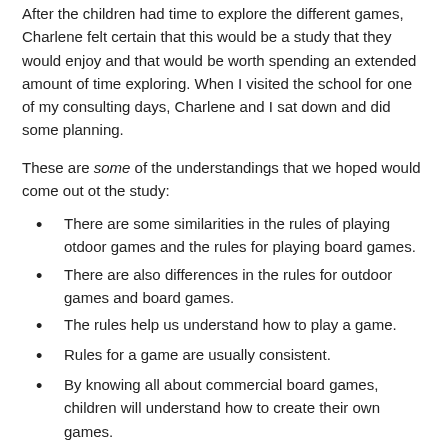After the children had time to explore the different games, Charlene felt certain that this would be a study that they would enjoy and that would be worth spending an extended amount of time exploring. When I visited the school for one of my consulting days, Charlene and I sat down and did some planning.
These are some of the understandings that we hoped would come out ot the study:
There are some similarities in the rules of playing otdoor games and the rules for playing board games.
There are also differences in the rules for outdoor games and board games.
The rules help us understand how to play a game.
Rules for a game are usually consistent.
By knowing all about commercial board games, children will understand how to create their own games.